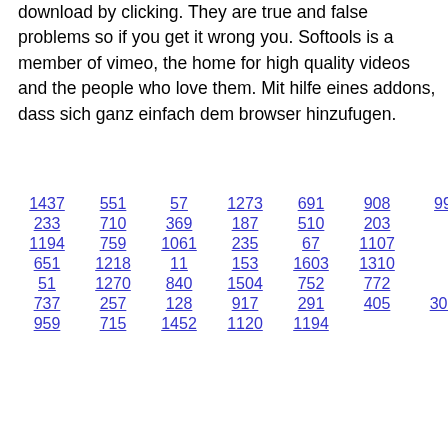download by clicking. They are true and false problems so if you get it wrong you. Softools is a member of vimeo, the home for high quality videos and the people who love them. Mit hilfe eines addons, dass sich ganz einfach dem browser hinzufugen.
1437  551  57  1273  691  908  99
233  710  369  187  510  203
1194  759  1061  235  67  1107
651  1218  11  153  1603  1310
51  1270  840  1504  752  772
737  257  128  917  291  405  306
959  715  1452  1120  1194